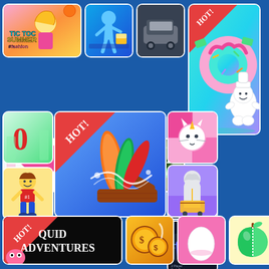[Figure (screenshot): Mobile game thumbnails grid on blue background - app store style game showcase. Row 1: Tic Toc Summer #fashion game, blue running character game, HOT donut chef game. Row 2: heart pillow game, Tower Blocks game, math equation game. Row 3: number zero game, boy character game, HOT knife slicing game (large center), pink unicorn cat game, city runner game, person shopping cart game, 2 Player Dark Racing game. Row 4: HOT Squid Adventures game, coin/money game, egg game, apple cutting game.]